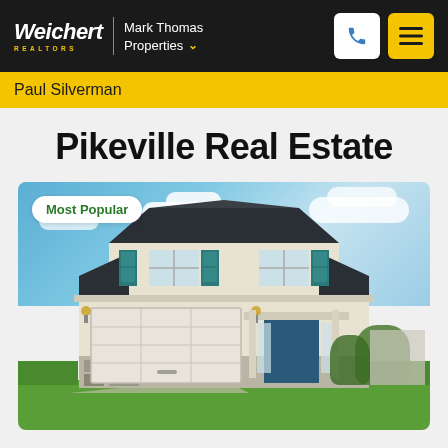Weichert REALTORS | Mark Thomas Properties
Paul Silverman
Pikeville Real Estate
[Figure (photo): Two-story suburban house with teal/blue shutters, white garage door, stone accent, blue sky with clouds. Badge overlay reads 'Most Popular'.]